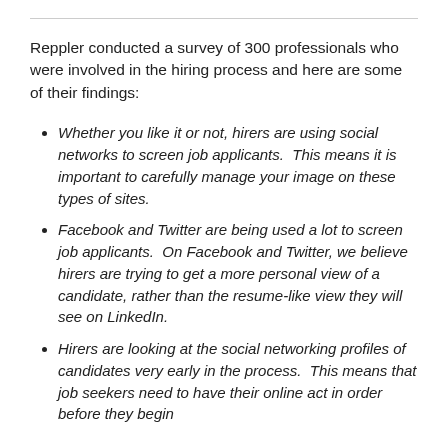Reppler conducted a survey of 300 professionals who were involved in the hiring process and here are some of their findings:
Whether you like it or not, hirers are using social networks to screen job applicants.  This means it is important to carefully manage your image on these types of sites.
Facebook and Twitter are being used a lot to screen job applicants.  On Facebook and Twitter, we believe hirers are trying to get a more personal view of a candidate, rather than the resume-like view they will see on LinkedIn.
Hirers are looking at the social networking profiles of candidates very early in the process.  This means that job seekers need to have their online act in order before they begin